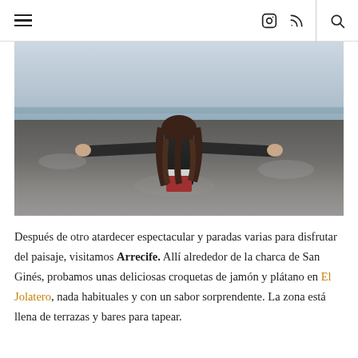Menu, Instagram, RSS, Search
[Figure (photo): Woman with long dark hair and black leather jacket, seen from behind with arms outstretched on a rocky coastal landscape with sea and overcast sky in background.]
Después de otro atardecer espectacular y paradas varias para disfrutar del paisaje, visitamos Arrecife. Allí alrededor de la charca de San Ginés, probamos unas deliciosas croquetas de jamón y plátano en El Jolatero, nada habituales y con un sabor sorprendente. La zona está llena de terrazas y bares para tapear.